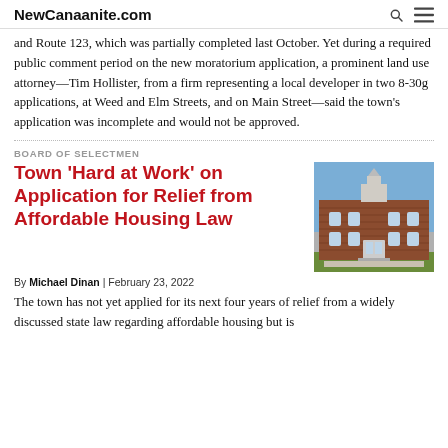NewCanaanite.com
and Route 123, which was partially completed last October. Yet during a required public comment period on the new moratorium application, a prominent land use attorney—Tim Hollister, from a firm representing a local developer in two 8-30g applications, at Weed and Elm Streets, and on Main Street—said the town's application was incomplete and would not be approved.
BOARD OF SELECTMEN
Town 'Hard at Work' on Application for Relief from Affordable Housing Law
[Figure (photo): Photograph of a red brick government or town hall building with a white cupola, blue sky visible above.]
By Michael Dinan | February 23, 2022
The town has not yet applied for its next four years of relief from a widely discussed state law regarding affordable housing but is